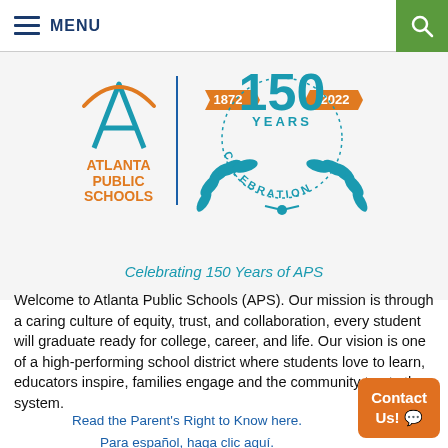MENU
[Figure (logo): Atlanta Public Schools logo with 150 Years Celebration emblem (1872-2022). Left side shows APS stylized 'A' logo with text ATLANTA PUBLIC SCHOOLS in orange. Right side shows teal circular emblem with '150 YEARS' and '1872' and '2022' banners and CELEBRATION text with laurel wreath.]
Celebrating 150 Years of APS
Welcome to Atlanta Public Schools (APS). Our mission is through a caring culture of equity, trust, and collaboration, every student will graduate ready for college, career, and life. Our vision is one of a high-performing school district where students love to learn, educators inspire, families engage and the community trusts the system.
Read the Parent's Right to Know here. Para español, haga clic aquí.